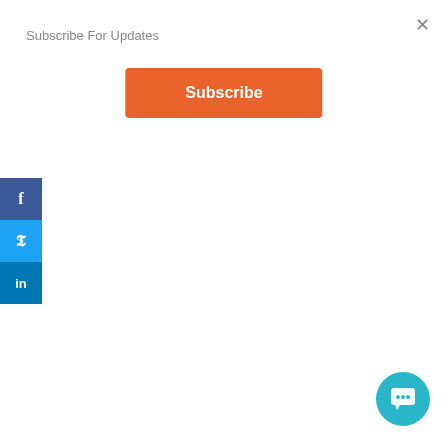Subscribe For Updates
Subscribe
[Figure (photo): A dramatic storm scene with lightning striking over a dark empty road stretching into the horizon, heavy dark clouds and tornado-like conditions visible.]
f
y
in
By Rebecca Longenecker
Is Amazon Removing Reviews? Here's What's Happening With Amazon's Review Chaos